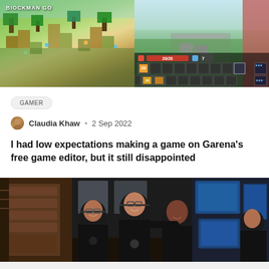[Figure (screenshot): Two screenshots of Blockman Go game: left shows a Minecraft-style block world map with green terrain, right shows gameplay UI with health bar showing 20/20, diamond count 7, and inventory slots]
GAMER
Claudia Khaw • 2 Sep 2022
I had low expectations making a game on Garena's free game editor, but it still disappointed
[Figure (photo): Three young men smiling together in an office setting with computers and monitors showing blue screens in the background]